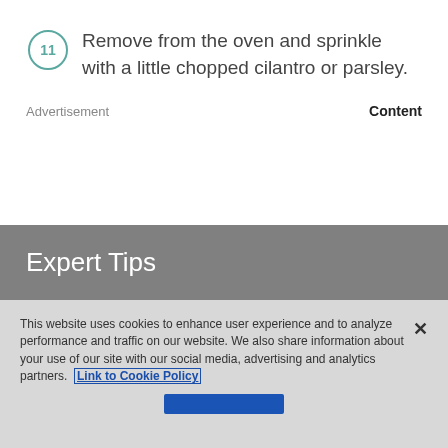11 Remove from the oven and sprinkle with a little chopped cilantro or parsley.
Advertisement    Content
Expert Tips
This website uses cookies to enhance user experience and to analyze performance and traffic on our website. We also share information about your use of our site with our social media, advertising and analytics partners. Link to Cookie Policy